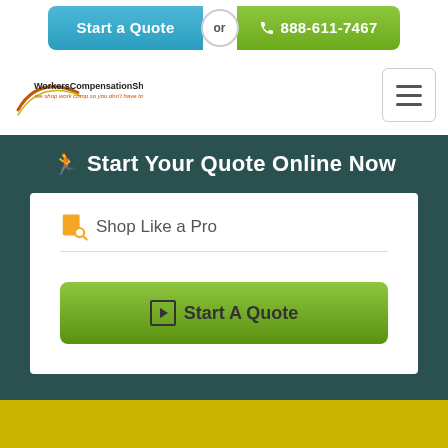[Figure (screenshot): Top navigation bar with 'Start a Quote' blue button and '888-611-7467' green phone button joined with 'or' circle]
[Figure (logo): WorkersCompensationShop.com logo with tagline 'we shop work comp so you don't have to' and hamburger menu button]
Start Your Quote Online Now
Shop Like a Pro
[Figure (other): Green 'Start A Quote' button with play icon]